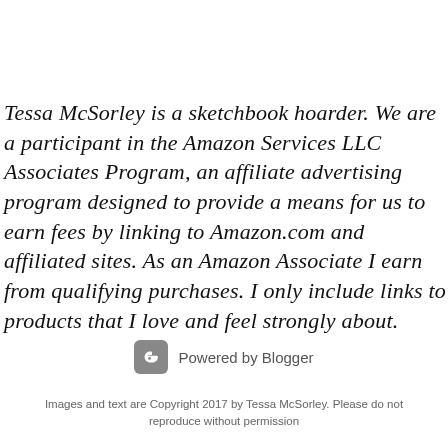Tessa McSorley is a sketchbook hoarder. We are a participant in the Amazon Services LLC Associates Program, an affiliate advertising program designed to provide a means for us to earn fees by linking to Amazon.com and affiliated sites. As an Amazon Associate I earn from qualifying purchases. I only include links to products that I love and feel strongly about.
[Figure (logo): Powered by Blogger logo with orange B icon and text]
Images and text are Copyright 2017 by Tessa McSorley. Please do not reproduce without permission